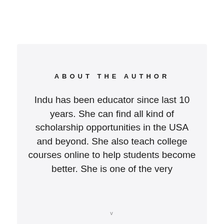ABOUT THE AUTHOR
Indu has been educator since last 10 years. She can find all kind of scholarship opportunities in the USA and beyond. She also teach college courses online to help students become better. She is one of the very
v